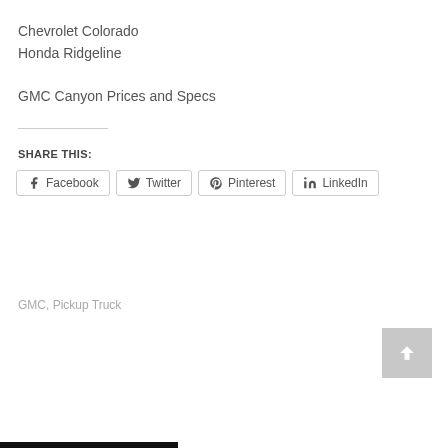Chevrolet Colorado
Honda Ridgeline
GMC Canyon Prices and Specs
SHARE THIS:
Facebook  Twitter  Pinterest  LinkedIn
GMC, Pickup Truck